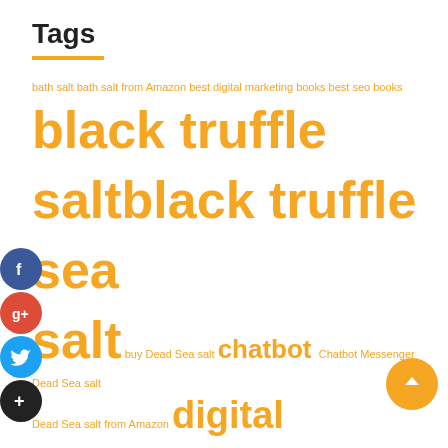Tags
bath salt bath salt from Amazon best digital marketing books best seo books black truffle salt black truffle sea salt buy Dead Sea salt chatbot Chatbot Messenger Dead Sea salt Dead Sea salt from Amazon digital marketing digital marketing Facebook Bot Facebook Chatbot Facebook Messenger Bot Facebook Messenger bot fb messenger bot furniture Himalayan pink salt Himalayan salt ipad distributors ipad online ipads Messenger Bot metatarsalgia movers pest control se… Pink Himalayan salt Pink salt plantar plate plantar plate dysfunction podchatlive pure Dead Sea salt Removal Roofing contractors Rubbish seo book seo